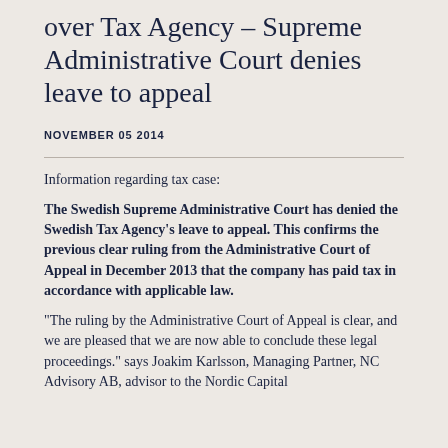over Tax Agency – Supreme Administrative Court denies leave to appeal
NOVEMBER 05 2014
Information regarding tax case:
The Swedish Supreme Administrative Court has denied the Swedish Tax Agency's leave to appeal. This confirms the previous clear ruling from the Administrative Court of Appeal in December 2013 that the company has paid tax in accordance with applicable law.
"The ruling by the Administrative Court of Appeal is clear, and we are pleased that we are now able to conclude these legal proceedings." says Joakim Karlsson, Managing Partner, NC Advisory AB, advisor to the Nordic Capital